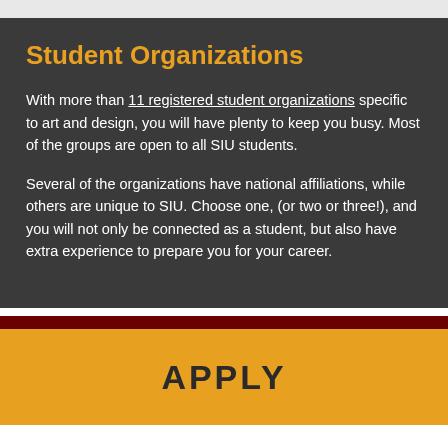Student Organizations
With more than 11 registered student organizations specific to art and design, you will have plenty to keep you busy. Most of the groups are open to all SIU students.
Several of the organizations have national affiliations, while others are unique to SIU. Choose one, (or two or three!), and you will not only be connected as a student, but also have extra experience to prepare you for your career.
APPLY